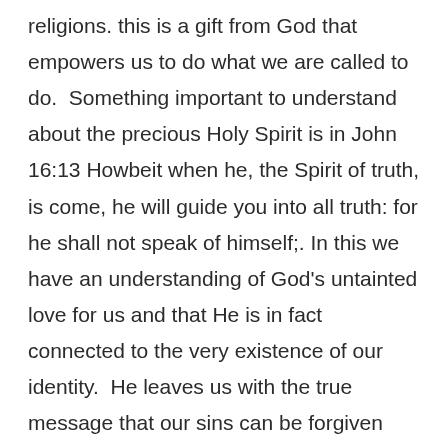religions. this is a gift from God that empowers us to do what we are called to do.  Something important to understand about the precious Holy Spirit is in John 16:13 Howbeit when he, the Spirit of truth, is come, he will guide you into all truth: for he shall not speak of himself;. In this we have an understanding of God's untainted love for us and that He is in fact connected to the very existence of our identity.  He leaves us with the true message that our sins can be forgiven through the love an the blood of Christ.  we must remember in all of this that it is grace that teaches and saves us.  Our salvation puts us in right standing with God for our entrance into eternity and is the inauguration To our relationship with the Holy Spirit.  With this New love we know the necessity of keeping commands and obedience, just as Jesus also taught in John 14:15 If ye love me, keep my commandments.  Lastly our New love